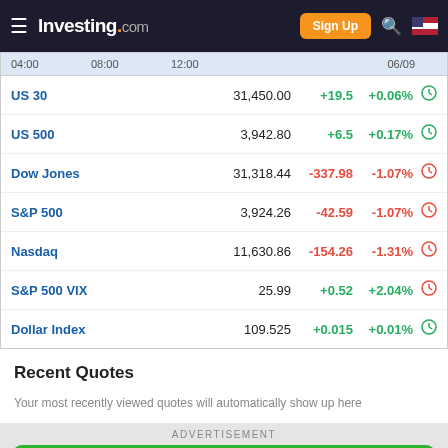Investing.com — Sign Up
|  | 04:00 | 08:00 | 12:00 |  | 06/09 |  |
| --- | --- | --- | --- | --- | --- | --- |
| US 30 | 31,450.00 | +19.5 | +0.06% |  |
| US 500 | 3,942.80 | +6.5 | +0.17% |  |
| Dow Jones | 31,318.44 | -337.98 | -1.07% |  |
| S&P 500 | 3,924.26 | -42.59 | -1.07% |  |
| Nasdaq | 11,630.86 | -154.26 | -1.31% |  |
| S&P 500 VIX | 25.99 | +0.52 | +2.04% |  |
| Dollar Index | 109.525 | +0.015 | +0.01% |  |
Recent Quotes
Your most recently viewed quotes will automatically show up here
ADVERTISEMENT
[Figure (other): Green Start Trading advertisement banner with white text]